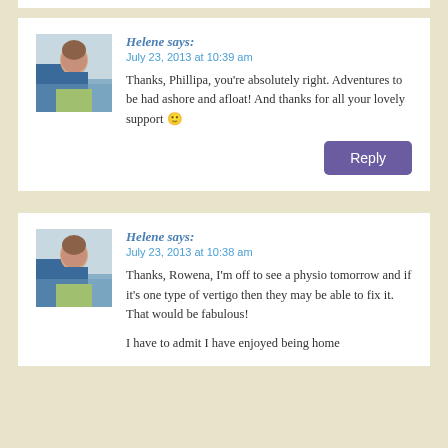Helene says:
July 23, 2013 at 10:39 am
Thanks, Phillipa, you're absolutely right. Adventures to be had ashore and afloat! And thanks for all your lovely support 🙂
Reply
Helene says:
July 23, 2013 at 10:38 am
Thanks, Rowena, I'm off to see a physio tomorrow and if it's one type of vertigo then they may be able to fix it. That would be fabulous!
I have to admit I have enjoyed being home